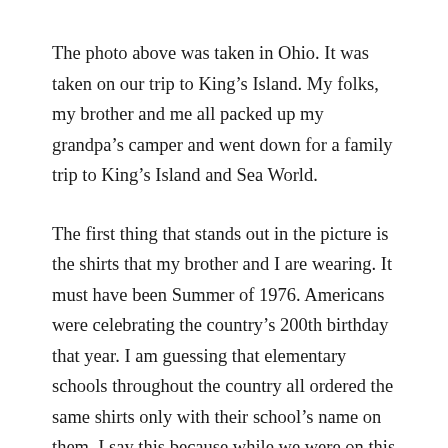The photo above was taken in Ohio. It was taken on our trip to King's Island. My folks, my brother and me all packed up my grandpa's camper and went down for a family trip to King's Island and Sea World.
The first thing that stands out in the picture is the shirts that my brother and I are wearing. It must have been Summer of 1976. Americans were celebrating the country's 200th birthday that year. I am guessing that elementary schools throughout the country all ordered the same shirts only with their school's name on them. I say this because while we were on this trip, there was a family that were wearing the same shirts sitting and eating at a table. I remember getting up and walking around in front of them until the mom said, “Hey! Nice